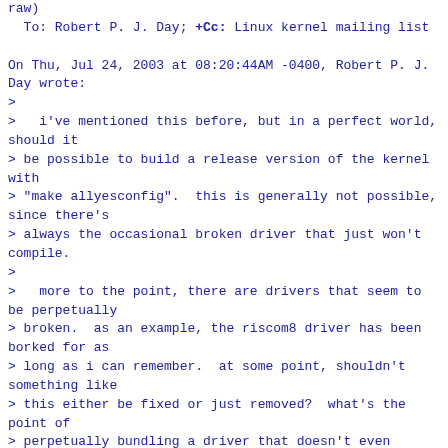raw)
  To: Robert P. J. Day; +Cc: Linux kernel mailing list
On Thu, Jul 24, 2003 at 08:20:44AM -0400, Robert P. J. Day wrote:
>
>   i've mentioned this before, but in a perfect world, should it
> be possible to build a release version of the kernel with
> "make allyesconfig".  this is generally not possible, since there's
> always the occasional broken driver that just won't compile.
>
>   more to the point, there are drivers that seem to be perpetually
> broken.  as an example, the riscom8 driver has been borked for as
> long as i can remember.  at some point, shouldn't something like
> this either be fixed or just removed?  what's the point of
> perpetually bundling a driver that doesn't even compile?
A first patch is at
http://www.ussg.iu.edu/hypermail/linux/kernel/0306.2/0770